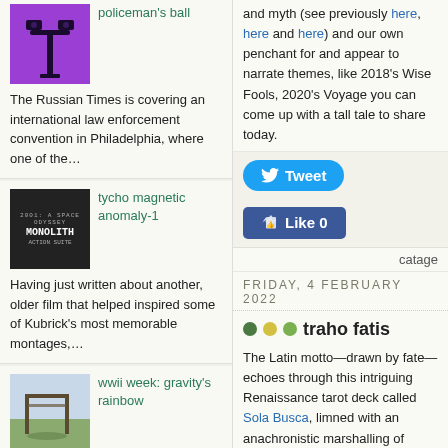[Figure (illustration): Purple background with stylized black lamp post / surveillance camera icon]
policeman's ball
The Russian Times is covering an international law enforcement convention in Philadelphia, where one of the…
[Figure (illustration): Black and white image of Monolith book/film cover text]
tycho magnetic anomaly-1
Having just written about another, older film that helped inspired some of Kubrick's most memorable montages,…
[Figure (photo): Outdoor photo of a structure on the Baltic]
wwii week: gravity's rainbow
Though after the war, these two locations on the Baltic
and myth (see previously here, here and here) and our own penchant for and appear to narrate themes, like 2018's Wise Fools, 2020's Voyage you can come up with a tall tale to share today.
[Figure (infographic): Tweet button (blue rounded) and Like 0 button (blue Facebook style)]
catage
FRIDAY, 4 FEBRUARY 2022
traho fatis
The Latin motto—drawn by fate—echoes through this intriguing Renaissance tarot deck called Sola Busca, limned with an anachronistic marshalling of ancient heroes, medieval bestiaries and then contemporary weapons and armour. Housed presently in a museum in Mila and the earliest known deck to illustrate the